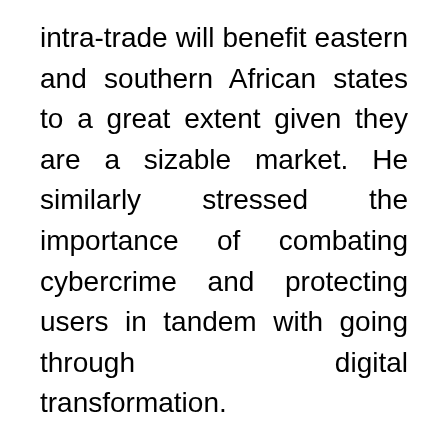intra-trade will benefit eastern and southern African states to a great extent given they are a sizable market. He similarly stressed the importance of combating cybercrime and protecting users in tandem with going through digital transformation.
COMESA Vice-Chairman and Head of Libyan Presidential Council Mohamed al-Manfy warned that Africa's food security is at stake because of the current status of logistics caused by the pandemic. Manfy expressed hope that COMESA countries will help Libya